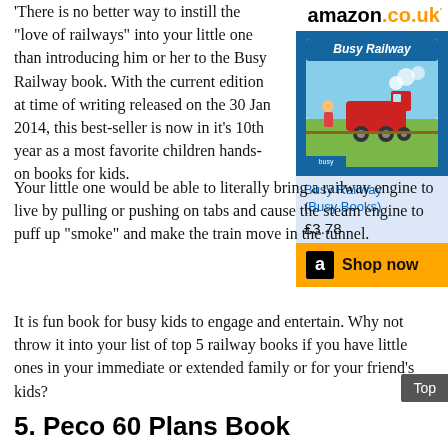[Figure (illustration): Amazon.co.uk widget showing Busy Railway (Busy Books) book cover, title, price £3.78, and Shop now button]
There is no better way to instill the "love of railways" into your little one than introducing him or her to the Busy Railway book. With the current edition at time of writing released on the 30 Jan 2014, this best-seller is now in it's 10th year as a most favorite children hands-on books for kids.
Your little one would be able to literally bring a railway engine to live by pulling or pushing on tabs and cause the steam engine to puff up "smoke" and make the train move in the tunnel.
It is fun book for busy kids to engage and entertain. Why not throw it into your list of top 5 railway books if you have little ones in your immediate or extended family or for your friend's kids?
5. Peco 60 Plans Book